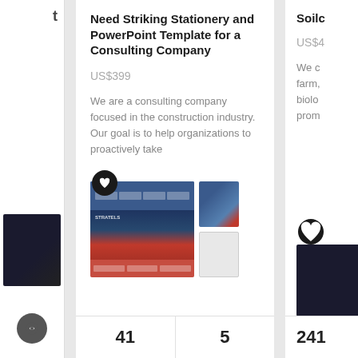Need Striking Stationery and PowerPoint Template for a Consulting Company
US$399
We are a consulting company focused in the construction industry. Our goal is to help organizations to proactively take
[Figure (screenshot): Thumbnails of consulting company stationery and PowerPoint template designs showing blue and red branding]
41
5
Soilc
US$4
We c farm, biolo prom
241